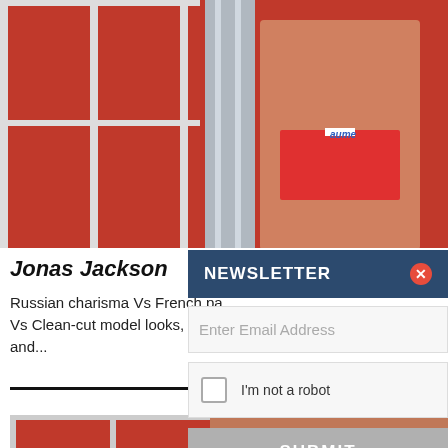[Figure (photo): Cropped photo of a man in red underwear standing in front of red lockers, with an HD badge in the bottom right corner]
Jonas Jackson
Russian charisma Vs French pas Vs Clean-cut model looks, boyis and...
[Figure (other): View Scene button with horizontal line]
[Figure (photo): Photo of a tattooed shirtless man leaning against red lockers]
NEWSLETTER
Enter Email Address
I'm not a robot
SUBMIT